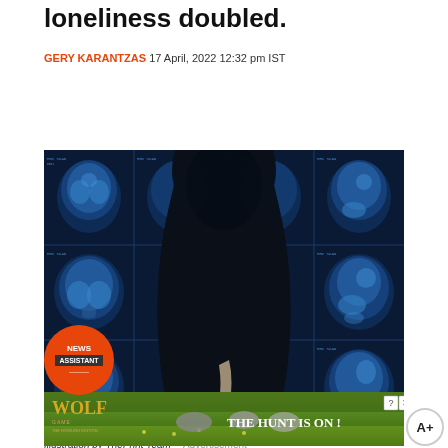loneliness doubled.
GERY KARANTZAS 17 April, 2022 12:32 pm IST
[Figure (illustration): A hooded dark figure viewed from the side, silhouetted against a grid of blue MRI brain scan images. A red circular badge in the bottom left reads 'NEWS ASSISTANT'.]
Illustration by ThePrint Team
Advertisement
[Figure (photo): Advertisement banner for 'Wolf Game - The Hunt is On!' featuring wolves in a field with game logo and tagline.]